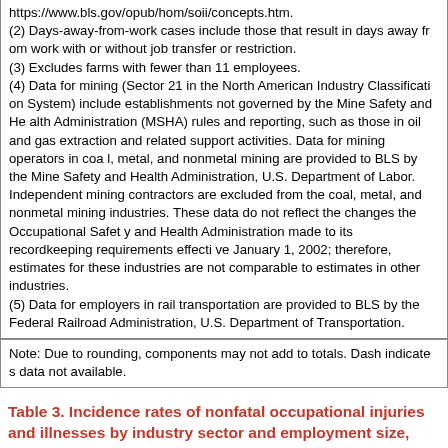https://www.bls.gov/opub/hom/soii/concepts.htm.
(2) Days-away-from-work cases include those that result in days away from work with or without job transfer or restriction.
(3) Excludes farms with fewer than 11 employees.
(4) Data for mining (Sector 21 in the North American Industry Classification System) include establishments not governed by the Mine Safety and Health Administration (MSHA) rules and reporting, such as those in oil and gas extraction and related support activities. Data for mining operators in coal, metal, and nonmetal mining are provided to BLS by the Mine Safety and Health Administration, U.S. Department of Labor. Independent mining contractors are excluded from the coal, metal, and nonmetal mining industries. These data do not reflect the changes the Occupational Safety and Health Administration made to its recordkeeping requirements effective January 1, 2002; therefore, estimates for these industries are not comparable to estimates in other industries.
(5) Data for employers in rail transportation are provided to BLS by the Federal Railroad Administration, U.S. Department of Transportation.
Note: Due to rounding, components may not add to totals. Dash indicates data not available.
Table 3. Incidence rates of nonfatal occupational injuries and illnesses by industry sector and employment size, Hawaii, 2020